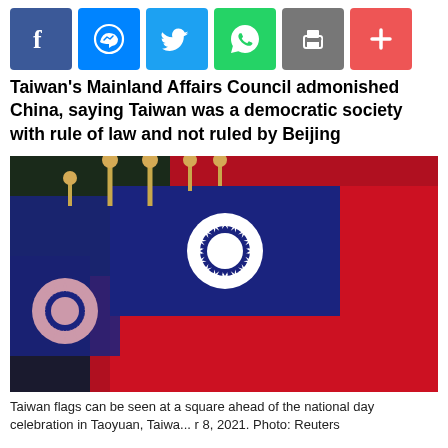[Figure (other): Row of social media share buttons: Facebook (blue), Messenger (light blue), Twitter (sky blue), WhatsApp (green), Print (gray), Plus/More (red-orange)]
Taiwan's Mainland Affairs Council admonished China, saying Taiwan was a democratic society with rule of law and not ruled by Beijing
[Figure (photo): Taiwan flags at a square ahead of the national day celebration. Multiple Republic of China flags with blue canton bearing white sun and red field are shown clustered together with gold ball finials.]
Taiwan flags can be seen at a square ahead of the national day celebration in Taoyuan, Taiwa... r 8, 2021. Photo: Reuters